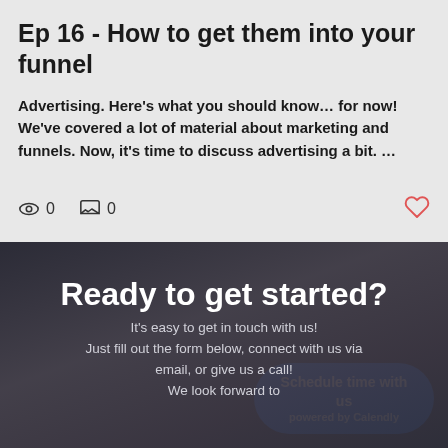Ep 16 - How to get them into your funnel
Advertising. Here’s what you should know… for now! We've covered a lot of material about marketing and funnels. Now, it’s time to discuss advertising a bit. …
0  0
Ready to get started?
It’s easy to get in touch with us! Just fill out the form below, connect with us via email, or give us a call! We look forward to
Schedule time with us powered by Calendly